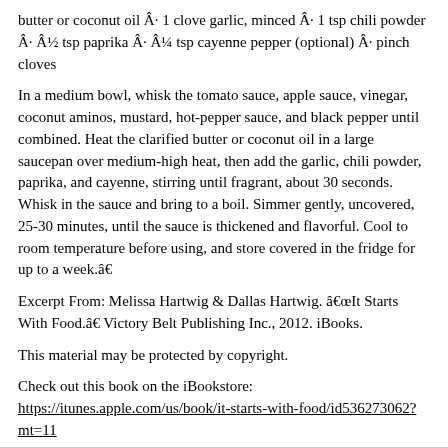butter or coconut oil · 1 clove garlic, minced · 1 tsp chili powder · ½ tsp paprika · ¼ tsp cayenne pepper (optional) · pinch cloves
In a medium bowl, whisk the tomato sauce, apple sauce, vinegar, coconut aminos, mustard, hot-pepper sauce, and black pepper until combined. Heat the clarified butter or coconut oil in a large saucepan over medium-high heat, then add the garlic, chili powder, paprika, and cayenne, stirring until fragrant, about 30 seconds. Whisk in the sauce and bring to a boil. Simmer gently, uncovered, 25-30 minutes, until the sauce is thickened and flavorful. Cool to room temperature before using, and store covered in the fridge for up to a week.â€
Excerpt From: Melissa Hartwig & Dallas Hartwig. â€œIt Starts With Food.â€ Victory Belt Publishing Inc., 2012. iBooks.
This material may be protected by copyright.
Check out this book on the iBookstore:
https://itunes.apple.com/us/book/it-starts-with-food/id536273062?mt=11